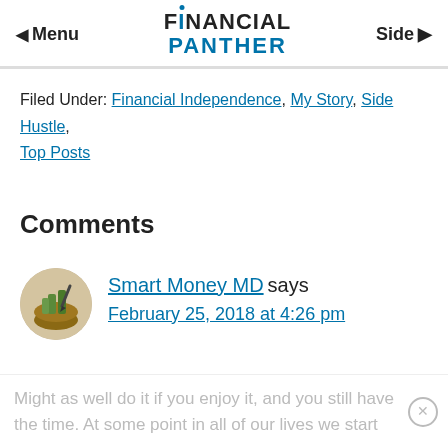Menu | Financial Panther | Side
Filed Under: Financial Independence, My Story, Side Hustle, Top Posts
Comments
Smart Money MD says February 25, 2018 at 4:26 pm
Might as well do it if you enjoy it, and you still have the time. At some point in all of our lives we start